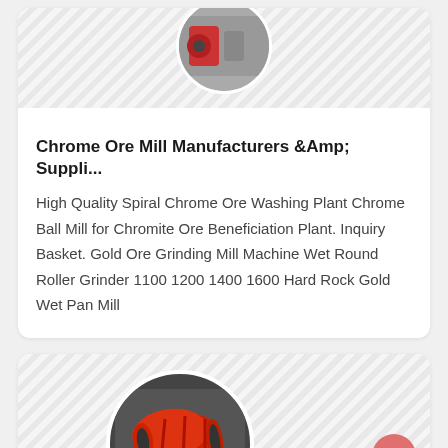[Figure (photo): Circular cropped photo of chrome ore mill machinery at top of first card]
Chrome Ore Mill Manufacturers &Amp; Suppli...
High Quality Spiral Chrome Ore Washing Plant Chrome Ball Mill for Chromite Ore Beneficiation Plant. Inquiry Basket. Gold Ore Grinding Mill Machine Wet Round Roller Grinder 1100 1200 1400 1600 Hard Rock Gold Wet Pan Mill
[Figure (photo): Circular cropped photo of a red ball mill / rotary drum industrial machine]
China Ball Mill Manufacturer, Rotary Dryer, St...
Ball Mill Equipment, Rotary Dryer, Sand Making